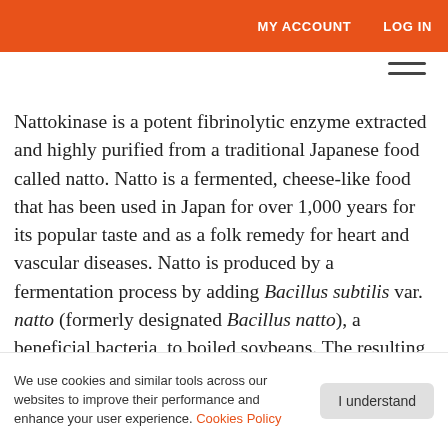MY ACCOUNT   LOG IN
Nattokinase is a potent fibrinolytic enzyme extracted and highly purified from a traditional Japanese food called natto. Natto is a fermented, cheese-like food that has been used in Japan for over 1,000 years for its popular taste and as a folk remedy for heart and vascular diseases. Natto is produced by a fermentation process by adding Bacillus subtilis var. natto (formerly designated Bacillus natto), a beneficial bacteria, to boiled soybeans. The resulting nattokinase enzyme is produced when B. subtilis natto
We use cookies and similar tools across our websites to improve their performance and enhance your user experience. Cookies Policy